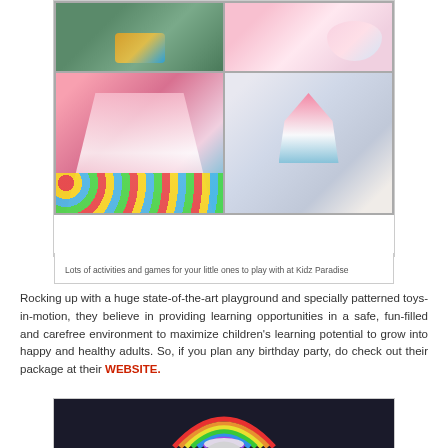[Figure (photo): Four-panel photo collage of Kidz Paradise indoor playground: colorful toys with a truck, pink inflatable pillows, children on pink slides with ball pit, and an indoor play area with tent and slide structures.]
Lots of activities and games for your little ones to play with at Kidz Paradise
Rocking up with a huge state-of-the-art playground and specially patterned toys-in-motion, they believe in providing learning opportunities in a safe, fun-filled and carefree environment to maximize children's learning potential to grow into happy and healthy adults. So, if you plan any birthday party, do check out their package at their WEBSITE.
[Figure (photo): A rainbow-shaped cake decoration or toy on a dark background.]